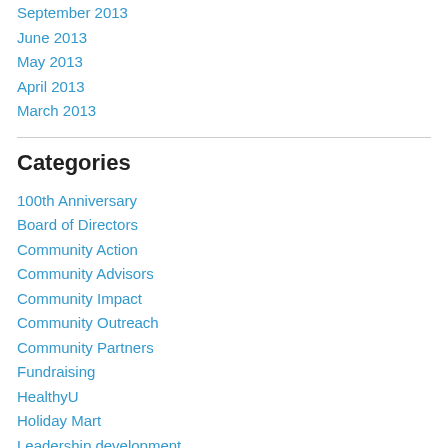September 2013
June 2013
May 2013
April 2013
March 2013
Categories
100th Anniversary
Board of Directors
Community Action
Community Advisors
Community Impact
Community Outreach
Community Partners
Fundraising
HealthyU
Holiday Mart
Leadership development